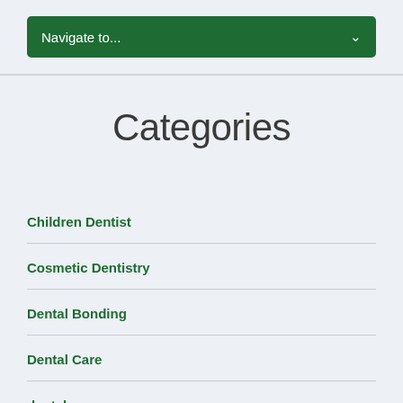[Figure (screenshot): Green navigation dropdown bar with text 'Navigate to...' and a chevron icon on the right]
Categories
Children Dentist
Cosmetic Dentistry
Dental Bonding
Dental Care
dental care expenses
Dental Crowns